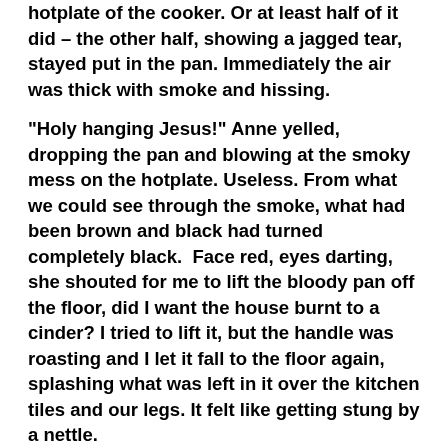hotplate of the cooker. Or at least half of it did – the other half, showing a jagged tear, stayed put in the pan. Immediately the air was thick with smoke and hissing.
“Holy hanging Jesus!” Anne yelled, dropping the pan and blowing at the smoky mess on the hotplate. Useless. From what we could see through the smoke, what had been brown and black had turned completely black.  Face red, eyes darting, she shouted for me to lift the bloody pan off the floor, did I want the house burnt to a cinder? I tried to lift it, but the handle was roasting and I let it fall to the floor again, splashing what was left in it over the kitchen tiles and our legs. It felt like getting stung by a nettle.
I’ll have to tell this next bit carefully, because it’s hard to explain. I was bending down to retrieve the pan when for no reason everything became blurred.  It was like being coshed from behind by a burglar in one of the Bulldog Drummond books. What had really happened was, my eyes had filled with tears. No warning. One minute, no thought of crying. Next minute, both eyes brimming. I